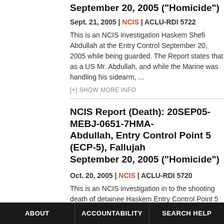September 20, 2005 ("Homicide")
Sept. 21, 2005 | NCIS | ACLU-RDI 5722
This is an NCIS investigation Haskem Shefi Abdullah at the Entry Control Point on September 20, 2005 while being guarded. The Report states that as a US Marine was with Mr. Abdullah, and while the Marine was handling his sidearm, ...
[+] SHOW MORE INFO
NCIS Report (Death): 20SEP05-MEBJ-0651-7HMA- Abdullah, Entry Control Point 5 (ECP-5), Fallujah, September 20, 2005 ("Homicide")
Oct. 20, 2005 | NCIS | ACLU-RDI 5720
This is an NCIS investigation in to the shooting death of detainee Haskem Entry Control Point 5 (ECP-5) on September 20, 2005 while being guarded. The Report states that as a US Marine was guarding Mr. Abdullah, and while ...
[+] SHOW MORE INFO
ABOUT | ACCOUNTABILITY | SEARCH HELP